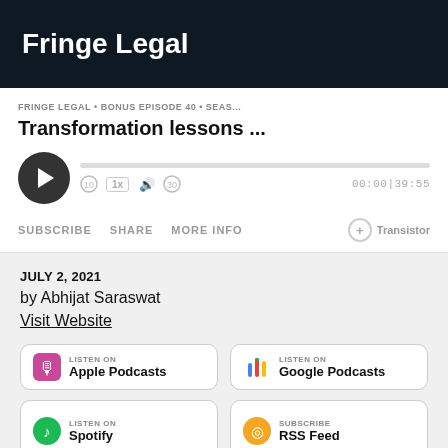Fringe Legal
FRINGE LEGAL • BONUS EPISODE 40 • SEAS...
Transformation lessons ...
[Figure (screenshot): Audio player with play button, progress bar, playback controls showing 1x speed, volume, and time 00:00|39:55]
SUBSCRIBE   SHARE   MORE INFO
JULY 2, 2021
by Abhijat Saraswat
Visit Website
[Figure (logo): Listen on Apple Podcasts badge]
[Figure (logo): Listen on Google Podcasts badge]
[Figure (logo): Listen on Spotify badge (partial)]
[Figure (logo): Subscribe RSS Feed badge (partial)]